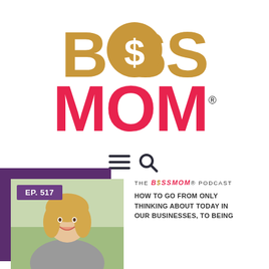[Figure (logo): Boss Mom logo: BOSS in gold with dollar sign, MOM in pink with heart, registered trademark symbol]
[Figure (infographic): Navigation icons: hamburger menu (three horizontal lines) and magnifying glass search icon]
[Figure (photo): Episode 517 card with purple background, EP. 517 badge, and photo of smiling blonde woman]
THE BOSSMOM® PODCAST
HOW TO GO FROM ONLY THINKING ABOUT TODAY IN OUR BUSINESSES, TO BEING